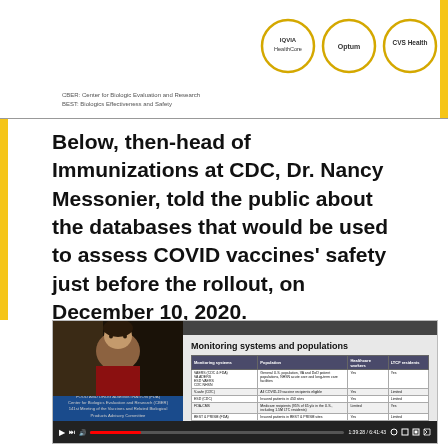[Figure (infographic): Partial header showing circles with logos: IQVIA HealthCore, Optum, CVS Health, with CBER and BEST text labels and a horizontal rule divider]
Below, then-head of Immunizations at CDC, Dr. Nancy Messonier, told the public about the databases that would be used to assess COVID vaccines' safety just before the rollout, on December 10, 2020.
[Figure (screenshot): Screenshot of a video conference showing a woman speaking on the left side and an FDA presentation slide on the right. The slide is titled 'Monitoring systems and populations' and contains a table listing monitoring systems (VAERS, V-safe, ESD, FDA-CMS, BEST & PRISM, VA EHR & data warehouse, DoD DMSS, Genesis HealthCare), their populations, and columns for Healthcare workers and LTCF residents. Video controls at bottom show timestamp 1:39:28 / 6:41:43.]